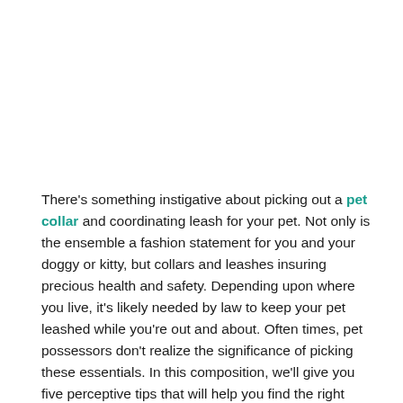There's something instigative about picking out a pet collar and coordinating leash for your pet. Not only is the ensemble a fashion statement for you and your doggy or kitty, but collars and leashes insuring precious health and safety. Depending upon where you live, it's likely needed by law to keep your pet leashed while you're out and about. Often times, pet possessors don't realize the significance of picking these essentials. In this composition, we'll give you five perceptive tips that will help you find the right leash and collar for your pet.